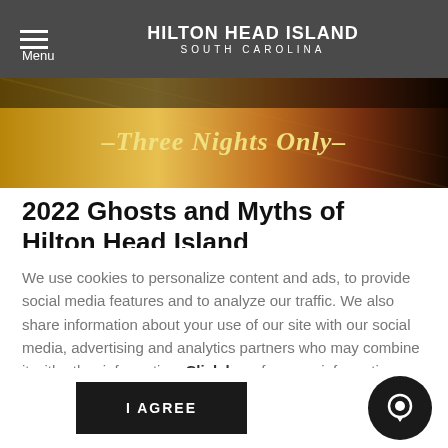HILTON HEAD ISLAND SOUTH CAROLINA
[Figure (photo): Dark banner image with golden light and text reading 'Three Nights Only']
2022 Ghosts and Myths of Hilton Head Island
We use cookies to personalize content and ads, to provide social media features and to analyze our traffic. We also share information about your use of our site with our social media, advertising and analytics partners who may combine it with other information. Click here for more information.